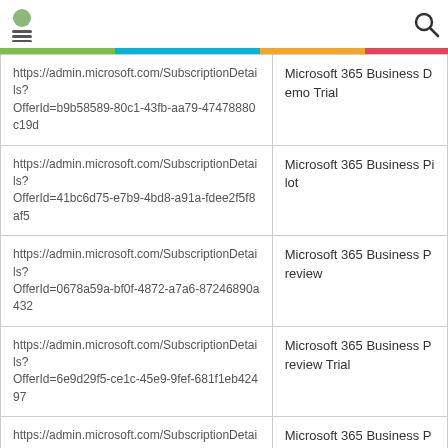[navigation header with icon and search]
| URL | Product |
| --- | --- |
| https://admin.microsoft.com/SubscriptionDetails?OfferId=b9b58589-80c1-43fb-aa79-47478880c19d | Microsoft 365 Business Demo Trial |
| https://admin.microsoft.com/SubscriptionDetails?OfferId=41bc6d75-e7b9-4bd8-a91a-fdee2f5f8af5 | Microsoft 365 Business Pilot |
| https://admin.microsoft.com/SubscriptionDetails?OfferId=0678a59a-bf0f-4872-a7a6-87246890a432 | Microsoft 365 Business Preview |
| https://admin.microsoft.com/SubscriptionDetails?OfferId=6e9d29f5-ce1c-45e9-9fef-681f1eb42497 | Microsoft 365 Business Preview Trial |
| https://admin.microsoft.com/SubscriptionDetails?OfferId=41d842ae-bf21-4b9c-a485-7f9592066 91f | Microsoft 365 Business Preview Trial |
| https://admin.microsoft.com/SubscriptionDetails?OfferId=0fa9d6b6-5923-4b5d-b16e-b7ef0a69e1b7 | Microsoft 365 Business Trial |
| https://admin.microsoft.com/SubscriptionDetails?OfferId=b5b2e812-37a1-4444-9c32-d2ebeb79a81a | Microsoft 365 Business Trial |